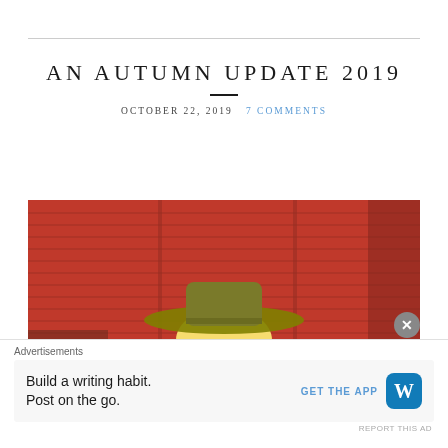AN AUTUMN UPDATE 2019
OCTOBER 22, 2019   7 COMMENTS
[Figure (photo): Blonde woman wearing a wide-brim olive/khaki hat and white top, standing in front of a red barn with horizontal wooden siding. Brown stair railing visible on left.]
Advertisements
Build a writing habit. Post on the go.
GET THE APP